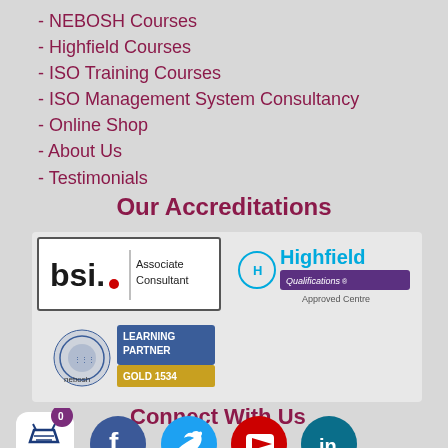- NEBOSH Courses
- Highfield Courses
- ISO Training Courses
- ISO Management System Consultancy
- Online Shop
- About Us
- Testimonials
Our Accreditations
[Figure (logo): BSI Associate Consultant logo and Highfield Qualifications Approved Centre logo side by side, and NEBOSH Gold Learning Partner 1534 logo below]
Connect With Us
[Figure (infographic): Social media icons: Facebook (partially visible), Twitter (blue bird), YouTube (red play button), LinkedIn (teal), and a shopping basket icon with badge showing 0]